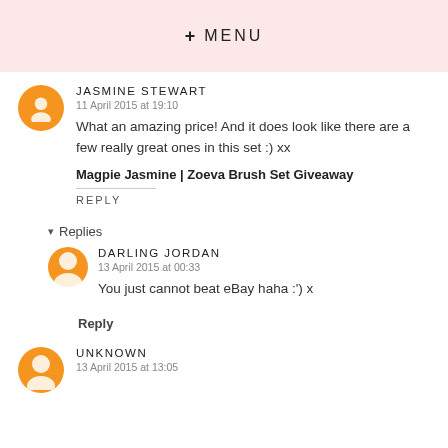+ MENU
JASMINE STEWART
11 April 2015 at 19:10
What an amazing price! And it does look like there are a few really great ones in this set :) xx
Magpie Jasmine | Zoeva Brush Set Giveaway
REPLY
Replies
DARLING JORDAN
13 April 2015 at 00:33
You just cannot beat eBay haha :') x
Reply
UNKNOWN
13 April 2015 at 13:05